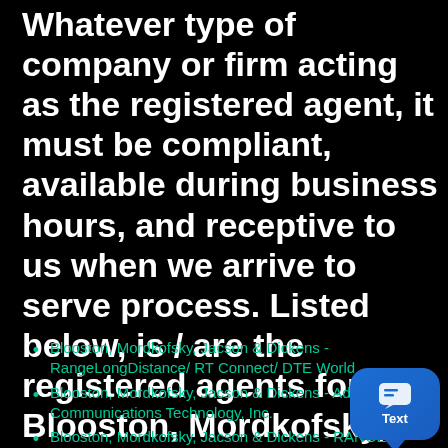Whatever type of company or firm acting as the registered agent, it must be compliant, available during business hours, and receptive to us when we arrive to serve process. Listed below, is / are the registered agents for Blooston, Mordkofsky, Jacson & Dickens located within the District of Columbia. We hope you find the list useful and we look forward to assisting you with your service.
Blooston, Mordkofsky, Jacson & Dickens - RangeLongDistance/ RT Connect/ DTE World
Blooston, Mordkofsky, Jacson & Dickens - Advanced Communications Technology, Inc.
Blooston, Mordkofsky, Jacson & Dickens - RANGE...